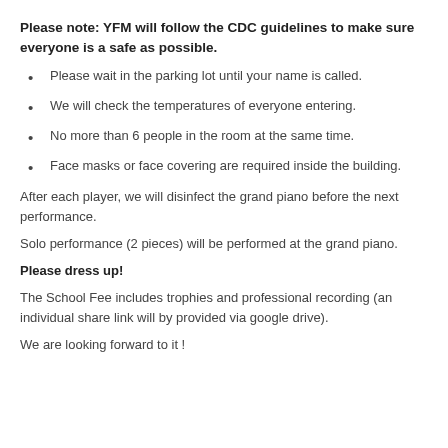Please note: YFM will follow the CDC guidelines to make sure everyone is a safe as possible.
Please wait in the parking lot until your name is called.
We will check the temperatures of everyone entering.
No more than 6 people in the room at the same time.
Face masks or face covering are required inside the building.
After each player, we will disinfect the grand piano before the next performance.
Solo performance (2 pieces) will be performed at the grand piano.
Please dress up!
The School Fee includes trophies and professional recording (an individual share link will by provided via google drive).
We are looking forward to it !